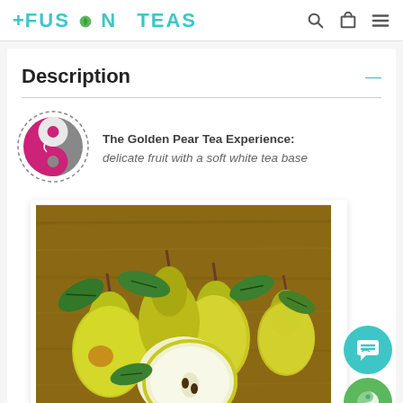FUSION TEAS
Description
The Golden Pear Tea Experience: delicate fruit with a soft white tea base
[Figure (photo): A group of fresh golden/yellow pears on a wooden surface, with one pear sliced open showing the white interior and seed, surrounded by green leaves.]
[Figure (illustration): Teal circular chat/message button icon]
[Figure (illustration): Green circular Fusion Teas logo button]